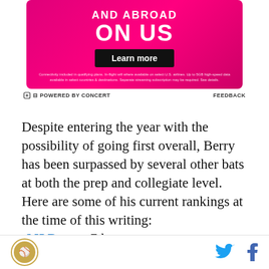[Figure (illustration): T-Mobile advertisement banner with pink/magenta background. Text reads 'AND ABROAD ON US' with a 'Learn more' button and fine print about connectivity plans. Footer says 'POWERED BY CONCERT' and 'FEEDBACK'.]
Despite entering the year with the possibility of going first overall, Berry has been surpassed by several other bats at both the prep and collegiate level. Here are some of his current rankings at the time of this writing:
MLB.com: 7th
Prospects Live: 22nd